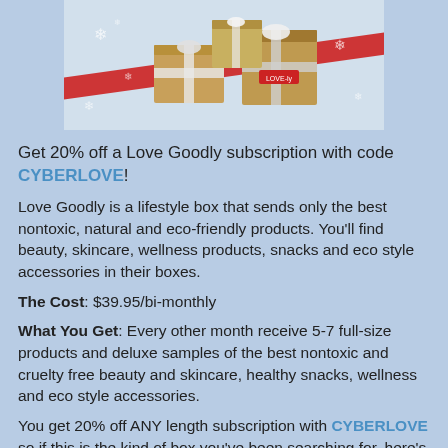[Figure (photo): Holiday gift boxes with snowflake wrapping paper and red ribbon on a light snowy background]
Get 20% off a Love Goodly subscription with code CYBERLOVE!
Love Goodly is a lifestyle box that sends only the best nontoxic, natural and eco-friendly products. You'll find beauty, skincare, wellness products, snacks and eco style accessories in their boxes.
The Cost: $39.95/bi-monthly
What You Get: Every other month receive 5-7 full-size products and deluxe samples of the best nontoxic and cruelty free beauty and skincare, healthy snacks, wellness and eco style accessories.
You get 20% off ANY length subscription with CYBERLOVE so if this is the kind of box you've been searching for, here's your chance! With a six month subscription, this brings your